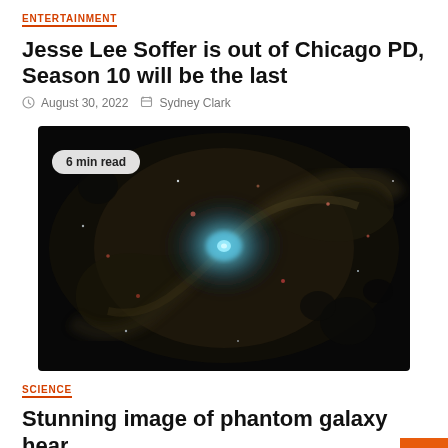ENTERTAINMENT
Jesse Lee Soffer is out of Chicago PD, Season 10 will be the last
August 30, 2022  Sydney Clark
[Figure (photo): A deep-space spiral galaxy image, labeled '6 min read', appearing to be a JWST image of a phantom galaxy with a glowing blue center and dark dust lanes.]
SCIENCE
Stunning image of phantom galaxy heart displaying the power of Webb